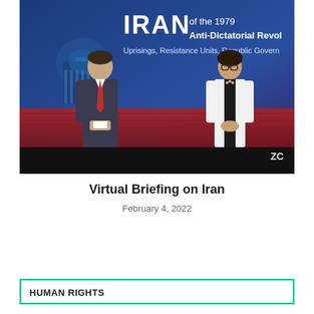[Figure (photo): Screenshot of a virtual event or video call showing two presenters (a man in a suit on the left and a woman in a white blazer on the right) standing in front of a blue background with the text 'IRAN of the 1979 Anti-Dictatorial Revol... Uprisings, Resistance Units, Republic Govern...' and a Zoom watermark in the lower right corner.]
Virtual Briefing on Iran
February 4, 2022
HUMAN RIGHTS